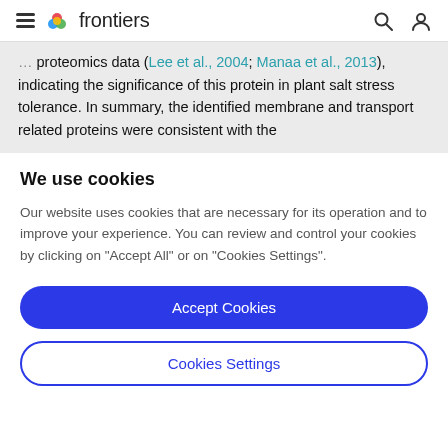frontiers
proteomics data (Lee et al., 2004; Manaa et al., 2013), indicating the significance of this protein in plant salt stress tolerance. In summary, the identified membrane and transport related proteins were consistent with the
We use cookies
Our website uses cookies that are necessary for its operation and to improve your experience. You can review and control your cookies by clicking on "Accept All" or on "Cookies Settings".
Accept Cookies
Cookies Settings